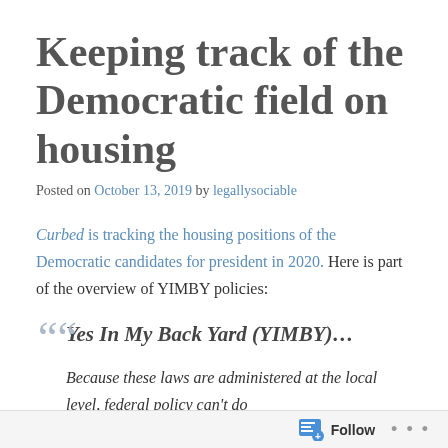Keeping track of the Democratic field on housing
Posted on October 13, 2019 by legallysociable
Curbed is tracking the housing positions of the Democratic candidates for president in 2020. Here is part of the overview of YIMBY policies:
Yes In My Back Yard (YIMBY)…
Because these laws are administered at the local level, federal policy can't do
Follow